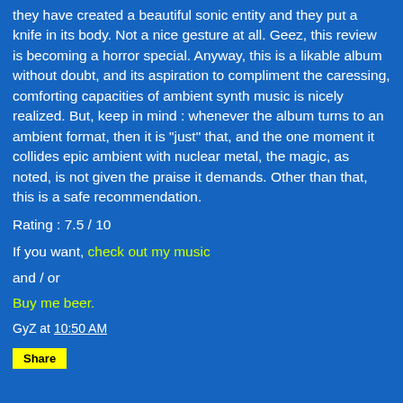they have created a beautiful sonic entity and they put a knife in its body. Not a nice gesture at all. Geez, this review is becoming a horror special. Anyway, this is a likable album without doubt, and its aspiration to compliment the caressing, comforting capacities of ambient synth music is nicely realized. But, keep in mind : whenever the album turns to an ambient format, then it is "just" that, and the one moment it collides epic ambient with nuclear metal, the magic, as noted, is not given the praise it demands. Other than that, this is a safe recommendation.
Rating : 7.5 / 10
If you want, check out my music
and / or
Buy me beer.
GyZ at 10:50 AM
Share